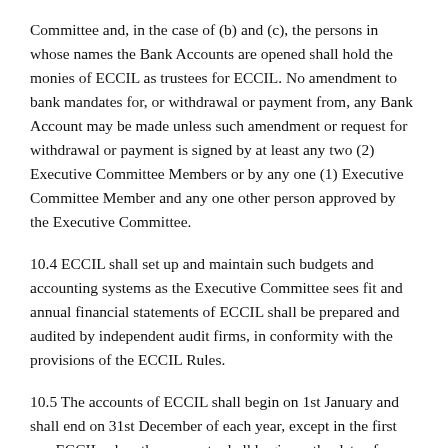Committee and, in the case of (b) and (c), the persons in whose names the Bank Accounts are opened shall hold the monies of ECCIL as trustees for ECCIL. No amendment to bank mandates for, or withdrawal or payment from, any Bank Account may be made unless such amendment or request for withdrawal or payment is signed by at least any two (2) Executive Committee Members or by any one (1) Executive Committee Member and any one other person approved by the Executive Committee.
10.4 ECCIL shall set up and maintain such budgets and accounting systems as the Executive Committee sees fit and annual financial statements of ECCIL shall be prepared and audited by independent audit firms, in conformity with the provisions of the ECCIL Rules.
10.5 The accounts of ECCIL shall begin on 1st January and shall end on 31st December of each year, except in the first year ECCIL when the accounts shall begin on the date of adoption of